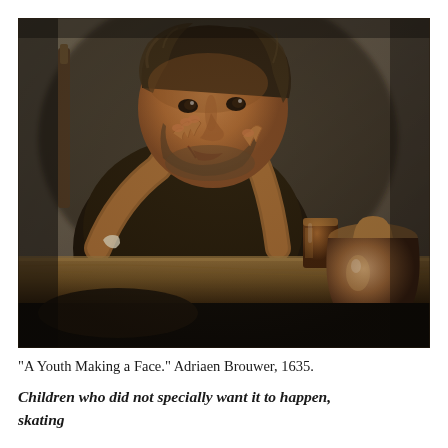[Figure (illustration): Painting 'A Youth Making a Face' by Adriaen Brouwer, 1635. An elderly man with disheveled hair and a beard sits at a wooden table, pressing his fingers to his face in a grimacing expression. On the table beside him are a glass and a large ceramic jug. The painting has dark, earthy tones typical of Dutch Golden Age tavern scenes.]
“A Youth Making a Face.” Adriaen Brouwer, 1635.
Children who did not specially want it to happen, skating